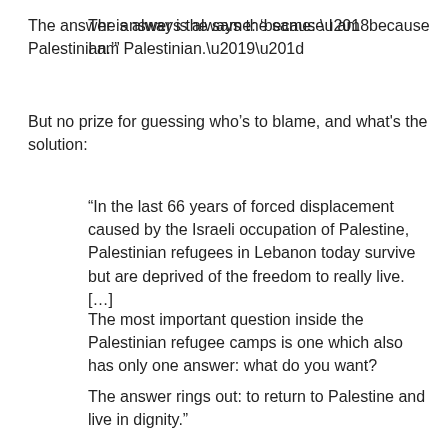The answer is always the same: ‘because I am Palestinian.’”
But no prize for guessing who’s to blame, and what's the solution:
“In the last 66 years of forced displacement caused by the Israeli occupation of Palestine, Palestinian refugees in Lebanon today survive but are deprived of the freedom to really live. […]
The most important question inside the Palestinian refugee camps is one which also has only one answer: what do you want?
The answer rings out: to return to Palestine and live in dignity.”